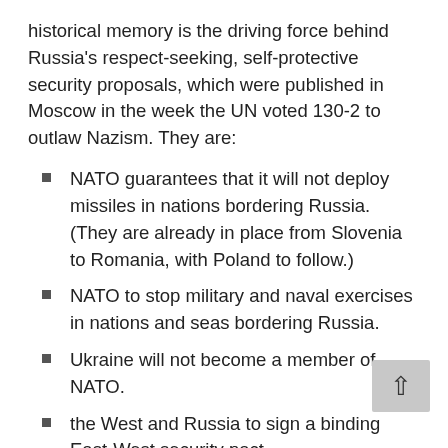historical memory is the driving force behind Russia's respect-seeking, self-protective security proposals, which were published in Moscow in the week the UN voted 130-2 to outlaw Nazism. They are:
NATO guarantees that it will not deploy missiles in nations bordering Russia. (They are already in place from Slovenia to Romania, with Poland to follow.)
NATO to stop military and naval exercises in nations and seas bordering Russia.
Ukraine will not become a member of NATO.
the West and Russia to sign a binding East-West security pact.
the landmark treaty between the U.S. and Russia covering intermediate-range nuclear weapons to be